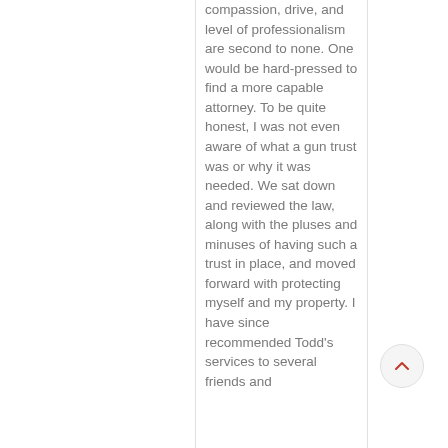compassion, drive, and level of professionalism are second to none. One would be hard-pressed to find a more capable attorney. To be quite honest, I was not even aware of what a gun trust was or why it was needed. We sat down and reviewed the law, along with the pluses and minuses of having such a trust in place, and moved forward with protecting myself and my property. I have since recommended Todd's services to several friends and